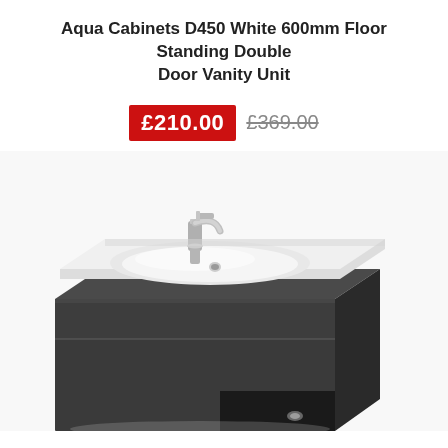Aqua Cabinets D450 White 600mm Floor Standing Double Door Vanity Unit
£210.00  £369.00
[Figure (photo): Product photo of a dark grey floor-standing double door vanity unit with a white ceramic basin on top and a chrome tap. The bottom cabinet door is open slightly showing the interior.]